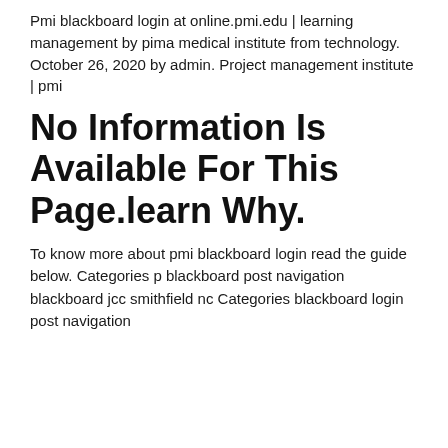Pmi blackboard login at online.pmi.edu | learning management by pima medical institute from technology. October 26, 2020 by admin. Project management institute | pmi
No Information Is Available For This Page.learn Why.
To know more about pmi blackboard login read the guide below. Categories p blackboard post navigation blackboard jcc smithfield nc Categories blackboard login post navigation